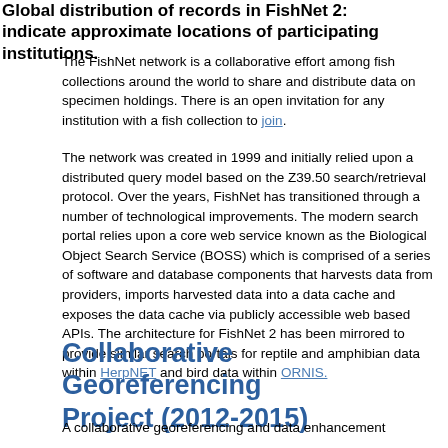Global distribution of records in FishNet 2: indicate approximate locations of participating institutions.
The FishNet network is a collaborative effort among fish collections around the world to share and distribute data on specimen holdings. There is an open invitation for any institution with a fish collection to join.
The network was created in 1999 and initially relied upon a distributed query model based on the Z39.50 search/retrieval protocol. Over the years, FishNet has transitioned through a number of technological improvements. The modern search portal relies upon a core web service known as the Biological Object Search Service (BOSS) which is comprised of a series of software and database components that harvests data from providers, imports harvested data into a data cache and exposes the data cache via publicly accessible web based APIs. The architecture for FishNet 2 has been mirrored to provide similar search portals for reptile and amphibian data within HerpNET and bird data within ORNIS.
Collaborative Georeferencing Project (2012-2015)
A collaborative georeferencing and data enhancement